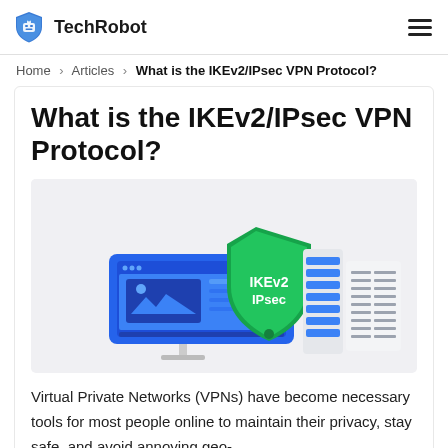TechRobot
Home > Articles > What is the IKEv2/IPsec VPN Protocol?
What is the IKEv2/IPsec VPN Protocol?
[Figure (illustration): Hero illustration showing a desktop monitor with a browser interface, a large green shield labeled 'IKEv2 IPsec', and server racks with blue/white details, on a light gray background.]
Virtual Private Networks (VPNs) have become necessary tools for most people online to maintain their privacy, stay safe, and avoid annoying geo-